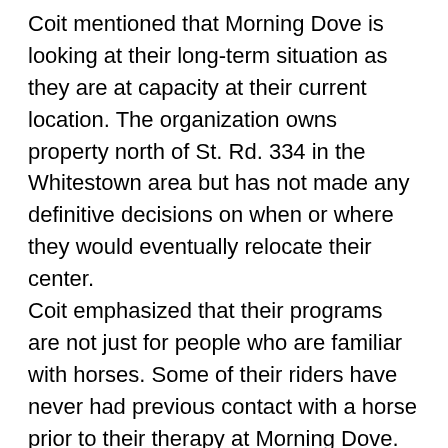Coit mentioned that Morning Dove is looking at their long-term situation as they are at capacity at their current location. The organization owns property north of St. Rd. 334 in the Whitestown area but has not made any definitive decisions on when or where they would eventually relocate their center.
Coit emphasized that their programs are not just for people who are familiar with horses. Some of their riders have never had previous contact with a horse prior to their therapy at Morning Dove.
“I often remind people that those of us who grew up with horses take for granted that we did, and that is what we have captured with therapeutic riding. There is an